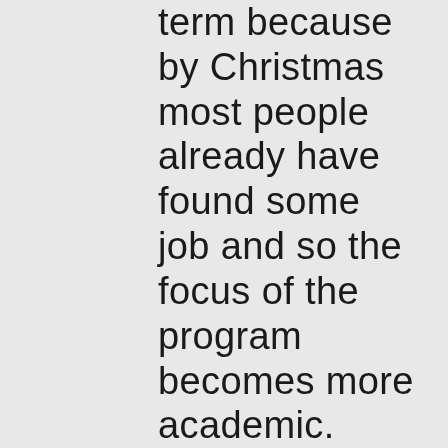term because by Christmas most people already have found some job and so the focus of the program becomes more academic. However, even in the spring, LSE is much less